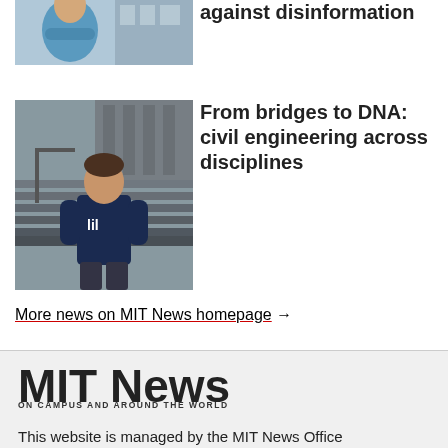[Figure (photo): Partial photo of a person in blue shirt with arms crossed, standing near a building]
against disinformation
[Figure (photo): Young man in MIT navy t-shirt standing in front of steps of a building]
From bridges to DNA: civil engineering across disciplines
More news on MIT News homepage →
[Figure (logo): MIT News logo with tagline ON CAMPUS AND AROUND THE WORLD]
This website is managed by the MIT News Office